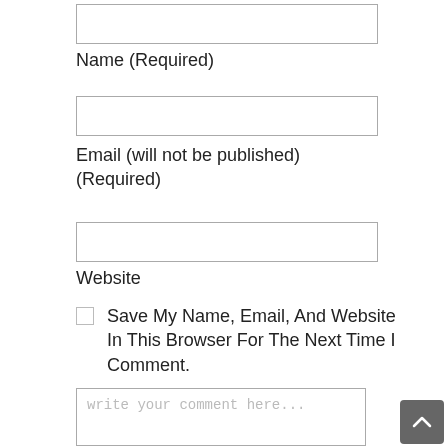[Figure (screenshot): A blank text input field for Name]
Name (Required)
[Figure (screenshot): A blank text input field for Email]
Email (will not be published) (Required)
[Figure (screenshot): A blank text input field for Website]
Website
Save My Name, Email, And Website In This Browser For The Next Time I Comment.
[Figure (screenshot): A textarea input with placeholder text 'write your comment here...']